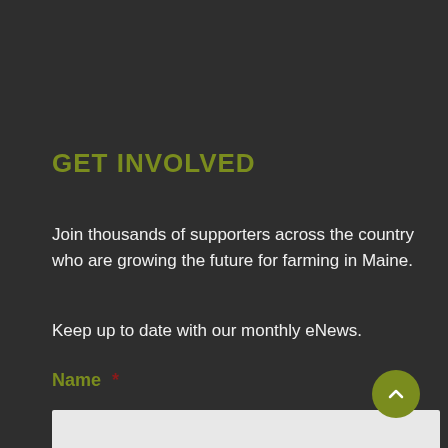GET INVOLVED
Join thousands of supporters across the country who are growing the future for farming in Maine.
Keep up to date with our monthly eNews.
Name *
First